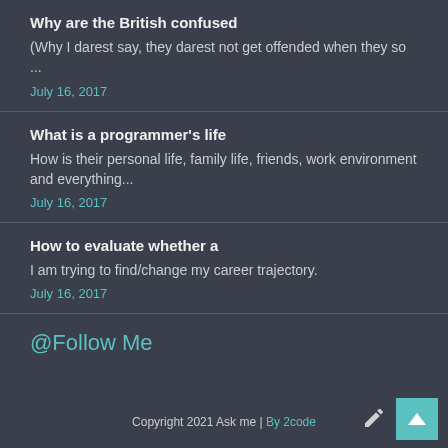Why are the British confused
(Why I darest say, they darest not get offended when they so ...
July 16, 2017
What is a programmer's life
How is their personal life, family life, friends, work environment and everything...
July 16, 2017
How to evaluate whether a
I am trying to find/change my career trajectory.
July 16, 2017
@Follow Me
Copyright 2021 Ask me | By 2code